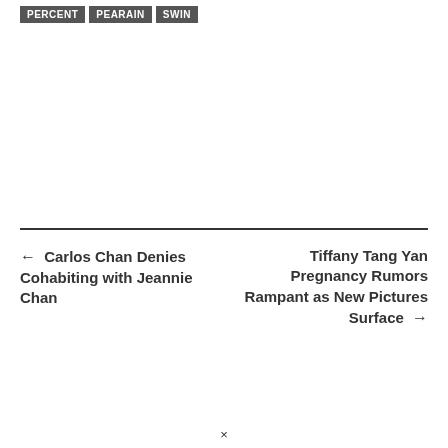PERCENT
PEARAIN
SWIN
← Carlos Chan Denies Cohabiting with Jeannie Chan
Tiffany Tang Yan Pregnancy Rumors Rampant as New Pictures Surface →